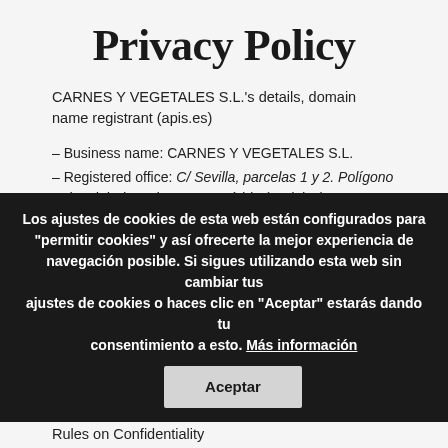Privacy Policy
CARNES Y VEGETALES S.L.'s details, domain name registrant (apis.es)
– Business name: CARNES Y VEGETALES S.L.
– Registered office: C/ Sevilla, parcelas 1 y 2. Polígono Industrial El Prado. 06800 Mérida (Badajoz)
– Tax Identification Number: B06603161- Telephone: 902 27 40 51- Fax: 924 37 86 58
– E-mail: info@apis.es
– Registration details: The company ... registered in the Companies Registry of Badajoz, in volume 520, ...
Los ajustes de cookies de esta web están configurados para "permitir cookies" y así ofrecerte la mejor experiencia de navegación posible. Si sigues utilizando esta web sin cambiar tus ajustes de cookies o haces clic en "Aceptar" estarás dando tu consentimiento a esto. Más información
Rules on Confidentiality